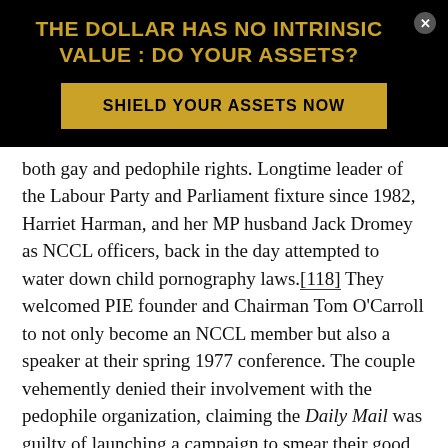THE DOLLAR HAS NO INTRINSIC VALUE : DO YOUR ASSETS?
SHIELD YOUR ASSETS NOW
both gay and pedophile rights. Longtime leader of the Labour Party and Parliament fixture since 1982, Harriet Harman, and her MP husband Jack Dromey as NCCL officers, back in the day attempted to water down child pornography laws.[118] They welcomed PIE founder and Chairman Tom O'Carroll to not only become an NCCL member but also a speaker at their spring 1977 conference. The couple vehemently denied their involvement with the pedophile organization, claiming the Daily Mail was guilty of launching a campaign to smear their good name.[119] Jack Dromey insists that he only attacked PIE for its vile nature, never embracing it. Yet his past actions speak louder than his feeble 2014 words.
Still another high-profile new employer currently with a since…